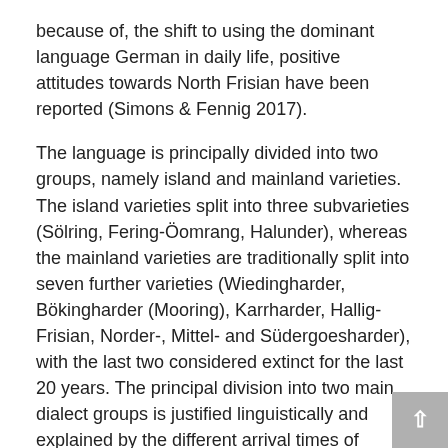because of, the shift to using the dominant language German in daily life, positive attitudes towards North Frisian have been reported (Simons & Fennig 2017).
The language is principally divided into two groups, namely island and mainland varieties. The island varieties split into three subvarieties (Sölring, Fering-Öomrang, Halunder), whereas the mainland varieties are traditionally split into seven further varieties (Wiedingharder, Bökingharder (Mooring), Karrharder, Hallig-Frisian, Norder-, Mittel- and Südergoesharder), with the last two considered extinct for the last 20 years. The principal division into two main dialect groups is justified linguistically and explained by the different arrival times of Frisians in their current homeland. Whilst the islands were settled in the eighth century approximately, the marshes of what constitutes the current mainland were settled by a different wave of Frisians migrants some three or four centuries later (the